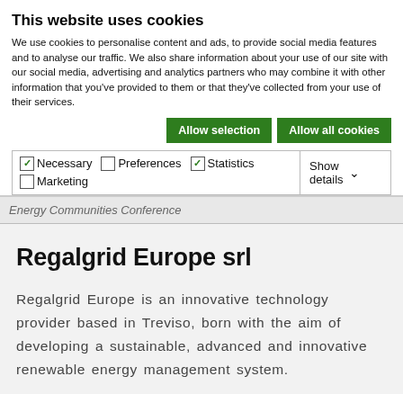This website uses cookies
We use cookies to personalise content and ads, to provide social media features and to analyse our traffic. We also share information about your use of our site with our social media, advertising and analytics partners who may combine it with other information that you've provided to them or that they've collected from your use of their services.
Allow selection | Allow all cookies
| ✓ Necessary | ☐ Preferences | ✓ Statistics | Show details ∨ |
| ☐ Marketing |  |  |  |
Energy Communities Conference
Regalgrid Europe srl
Regalgrid Europe is an innovative technology provider based in Treviso, born with the aim of developing a sustainable, advanced and innovative renewable energy management system.